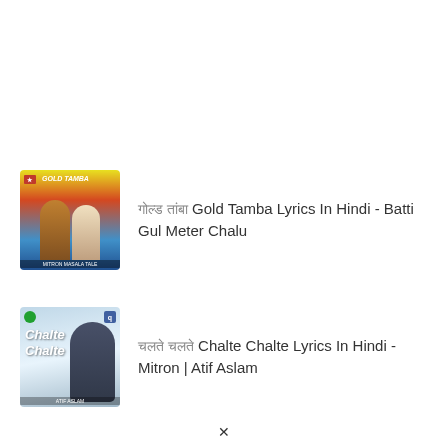[Figure (photo): Thumbnail image for Gold Tamba song - Batti Gul Meter Chalu movie poster]
गोल्ड तांबा Gold Tamba Lyrics In Hindi - Batti Gul Meter Chalu
[Figure (photo): Thumbnail image for Chalte Chalte song - Mitron movie with Atif Aslam]
चलते चलते Chalte Chalte Lyrics In Hindi - Mitron | Atif Aslam